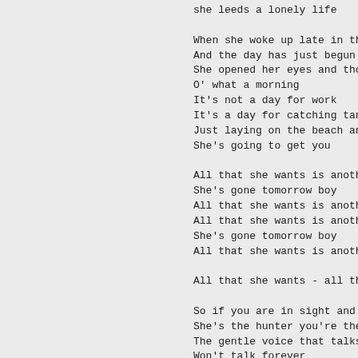she leeds a lonely life

When she woke up late in the mo
And the day has just begun
She opened her eyes and thought
O' what a morning
It's not a day for work
It's a day for catching tan
Just laying on the beach and ha
She's going to get you

All that she wants is another b
She's gone tomorrow boy
All that she wants is another b
All that she wants is another b
She's gone tomorrow boy
All that she wants is another b

All that she wants - all that s

So if you are in sight and the
She's the hunter you're the fox
The gentle voice that talks to
Won't talk forever
It's a night for passion
But the morning means goodbye
Beware of that is flashing on h
She's going to get you

All that she wants is another b
She's gone tomorrow boy
All that she wants is another b